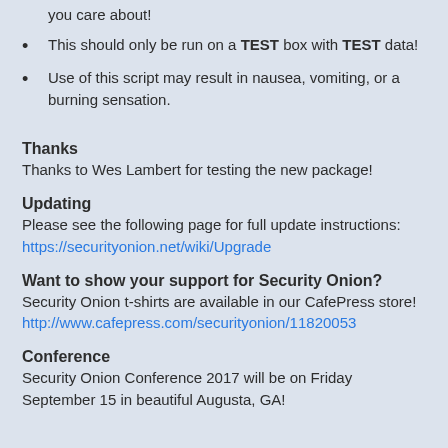you care about!
This should only be run on a TEST box with TEST data!
Use of this script may result in nausea, vomiting, or a burning sensation.
Thanks
Thanks to Wes Lambert for testing the new package!
Updating
Please see the following page for full update instructions:
https://securityonion.net/wiki/Upgrade
Want to show your support for Security Onion?
Security Onion t-shirts are available in our CafePress store!
http://www.cafepress.com/securityonion/11820053
Conference
Security Onion Conference 2017 will be on Friday September 15 in beautiful Augusta, GA!